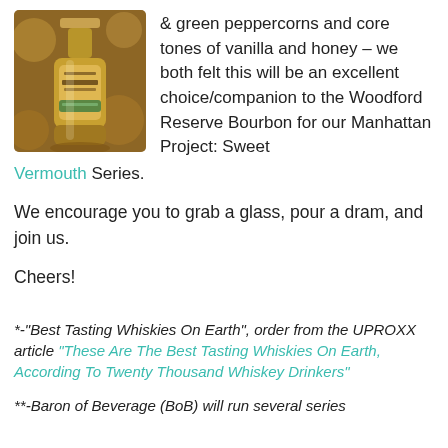[Figure (photo): Photo of a Woodford Reserve Bourbon bottle]
& green peppercorns and core tones of vanilla and honey – we both felt this will be an excellent choice/companion to the Woodford Reserve Bourbon for our Manhattan Project: Sweet Vermouth Series.
We encourage you to grab a glass, pour a dram, and join us.
Cheers!
*-"Best Tasting Whiskies On Earth", order from the UPROXX article "These Are The Best Tasting Whiskies On Earth, According To Twenty Thousand Whiskey Drinkers"
**-Baron of Beverage (BoB) will run several series